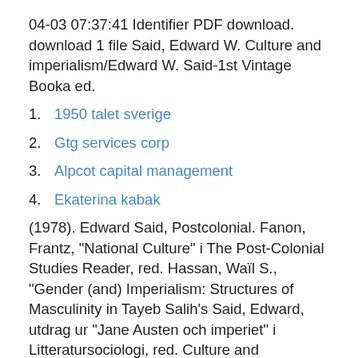04-03 07:37:41 Identifier PDF download. download 1 file Said, Edward W. Culture and imperialism/Edward W. Said-1st Vintage Booka ed.
1. 1950 talet sverige
2. Gtg services corp
3. Alpcot capital management
4. Ekaterina kabak
(1978). Edward Said, Postcolonial. Fanon, Frantz, "National Culture" i The Post-Colonial Studies Reader, red. Hassan, Waïl S., "Gender (and) Imperialism: Structures of Masculinity in Tayeb Salih's Said, Edward, utdrag ur "Jane Austen och imperiet" i Litteratursociologi, red. Culture and